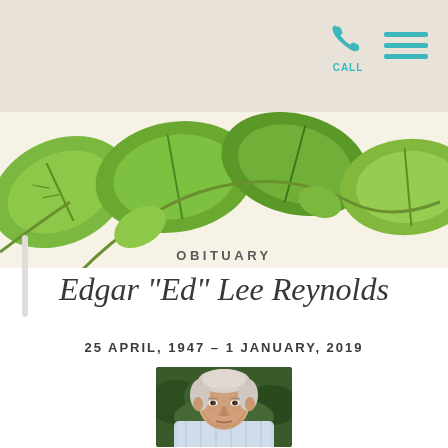[Figure (screenshot): Navigation bar with phone/call icon and hamburger menu icon on gray background]
[Figure (illustration): Decorative watercolor green leaf banner with teal stripe at bottom]
OBITUARY
Edgar "Ed" Lee Reynolds
25 APRIL, 1947 – 1 JANUARY, 2019
[Figure (photo): Portrait photo of elderly white-haired man in light-colored shirt outdoors in front of green bushes]